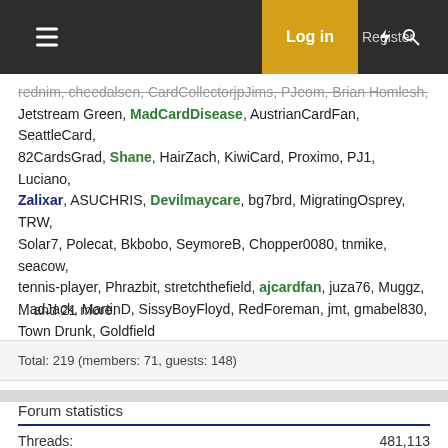Log in | Register
rednim, cheedalsen, CardCollectorjpJims, Pteom, Brian Homlesh, Jetstream Green, MadCardDisease, AustrianCardFan, SeattleCard, 82CardsGrad, Shane, HairZach, KiwiCard, Proximo, PJ1, Luciano, Zalixar, ASUCHRIS, Devilmaycare, bg7brd, MigratingOsprey, TRW, Solar7, Polecat, Bkbobo, SeymoreB, Chopper0080, tnmike, seacow, tennis-player, Phrazbit, stretchthefield, ajcardfan, juza76, Muggz, MadJack, MartinD, SissyBoyFloyd, RedForeman, jmt, gmabel830, Town Drunk, Goldfield
... and 21 more.
Total: 219 (members: 71, guests: 148)
Forum statistics
|  |  |
| --- | --- |
| Threads: | 481,113 |
| Posts: | 4,797,601 |
| Members: | 6,163 |
| Latest member: | the red menace |